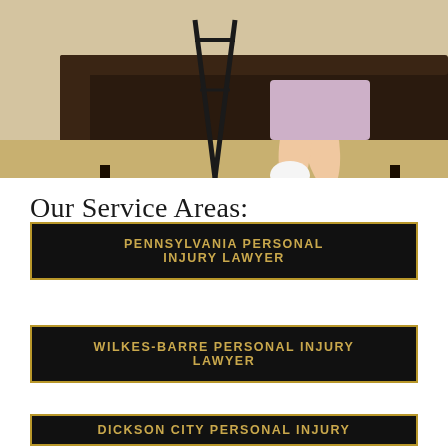[Figure (photo): A person with a leg cast sitting on a dark leather couch next to a pair of crutches on a beige rug]
Our Service Areas:
PENNSYLVANIA PERSONAL INJURY LAWYER
WILKES-BARRE PERSONAL INJURY LAWYER
DICKSON CITY PERSONAL INJURY